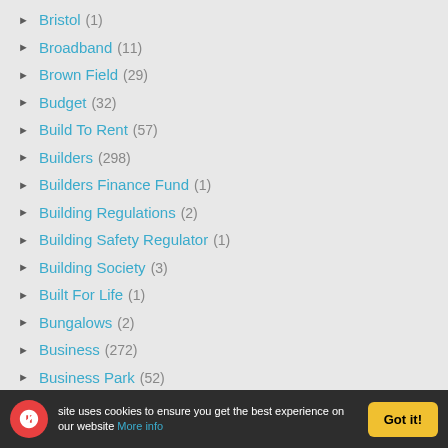Bristol (1)
Broadband (11)
Brown Field (29)
Budget (32)
Build To Rent (57)
Builders (298)
Builders Finance Fund (1)
Building Regulations (2)
Building Safety Regulator (1)
Building Society (3)
Built For Life (1)
Bungalows (2)
Business (272)
Business Park (52)
Business Property Relief (1)
This site uses cookies to ensure you get the best experience on our website More info